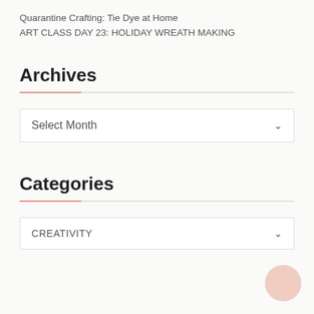Quarantine Crafting: Tie Dye at Home
ART CLASS DAY 23: HOLIDAY WREATH MAKING
Archives
Select Month
Categories
CREATIVITY